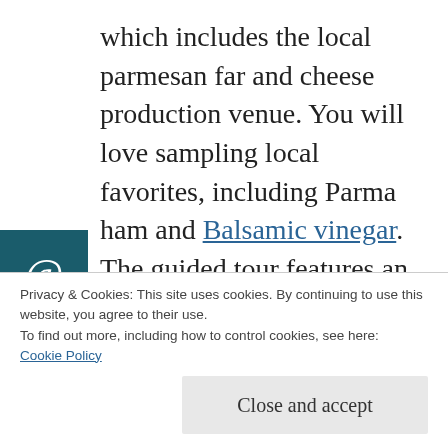which includes the local parmesan far and cheese production venue. You will love sampling local favorites, including Parma ham and Balsamic vinegar. The guided tour features an English speaker for your convenience. The 3 night tour and stay costs is indicated below and it is per person. This is inclusive of guide services, transportation, and cookery lessons. If you love Italian cuisine, the Bolognese tour will truly achieve your
Privacy & Cookies: This site uses cookies. By continuing to use this website, you agree to their use. To find out more, including how to control cookies, see here: Cookie Policy